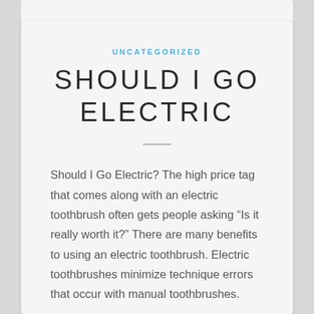UNCATEGORIZED
SHOULD I GO ELECTRIC
Should I Go Electric? The high price tag that comes along with an electric toothbrush often gets people asking “Is it really worth it?” There are many benefits to using an electric toothbrush. Electric toothbrushes minimize technique errors that occur with manual toothbrushes.